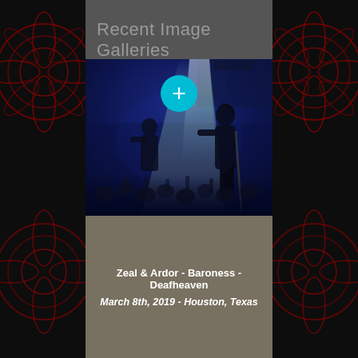Recent Image Galleries
[Figure (photo): Concert photo showing performers on stage with dramatic blue and green stage lighting beams, crowd reaching up toward the stage]
Zeal & Ardor - Baroness - Deafheaven
March 8th, 2019 - Houston, Texas